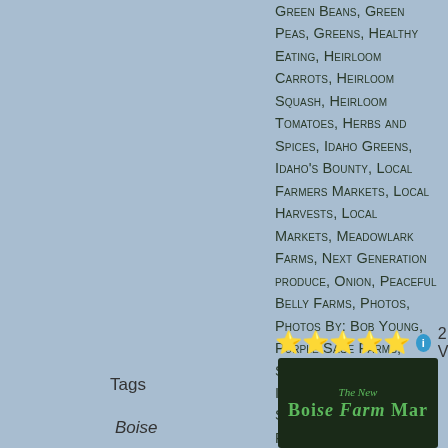Green Beans, Green Peas, Greens, Healthy Eating, Heirloom Carrots, Heirloom Squash, Heirloom Tomatoes, Herbs and Spices, Idaho Greens, Idaho's Bounty, Local Farmers Markets, Local Harvests, Local Markets, Meadowlark Farms, Next Generation produce, Onion, Peaceful Belly Farms, Photos, Photos By: Bob Young, Purple Sage Farms, Special Events, Special Information, Spinach, Spring Greens, Spring Plants, Spring Vegies, Traditional Food, True Roots Produce, Watercress, What's For Dinner?
[Figure (other): Five gold stars rating with an info icon and '2 Votes' text]
Tags
Boise
[Figure (photo): Dark background image with green text reading 'The New' and partial title text below in stylized font]